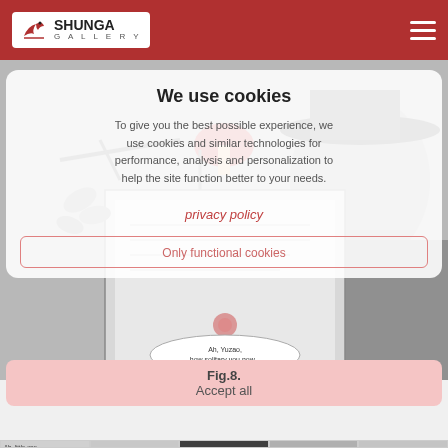SHUNGA GALLERY
[Figure (screenshot): Screenshot of Shunga Gallery website with a cookie consent overlay on top of a manga illustration. The overlay contains the text 'We use cookies' and options for privacy policy and functional cookies.]
Fig.8.
Accept all
[Figure (illustration): Bottom strip showing small manga comic panels]